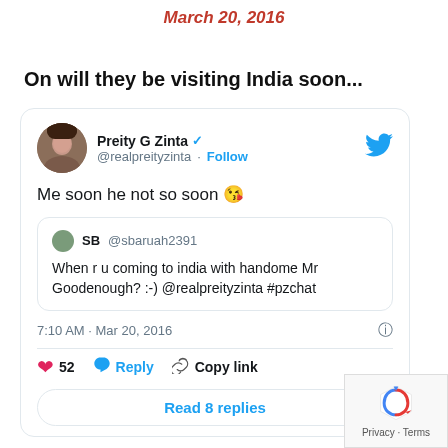March 20, 2016
On will they be visiting India soon...
[Figure (screenshot): Embedded tweet from @realpreityzinta (Preity G Zinta) saying 'Me soon he not so soon 😘', replying to @sbaruah2391 who asked 'When r u coming to india with handome Mr Goodenough? :-) @realpreityzinta #pzchat'. Tweet timestamp: 7:10 AM · Mar 20, 2016. 52 likes. Actions: Reply, Copy link. Read 8 replies button.]